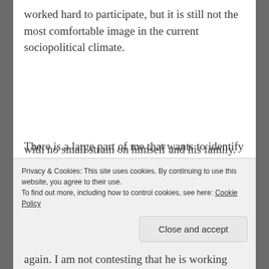worked hard to participate, but it is still not the most comfortable image in the current sociopolitical climate.
There is a large part of me that wants to identify the general hopefulness of the article as a problem, as well. Stoddard makes great progress towards his goal, though he does so with no small effort and with no small strain on himself and his family. But
again. I am not contesting that he is working
Privacy & Cookies: This site uses cookies. By continuing to use this website, you agree to their use.
To find out more, including how to control cookies, see here: Cookie Policy
Close and accept